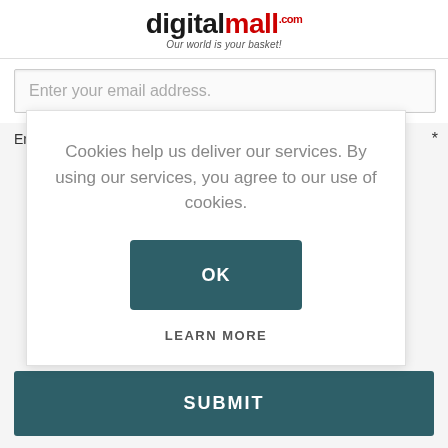[Figure (logo): digitalmall.com logo with tagline 'Our world is your basket!']
Enter your email address.
Cookies help us deliver our services. By using our services, you agree to our use of cookies.
OK
LEARN MORE
SUBMIT